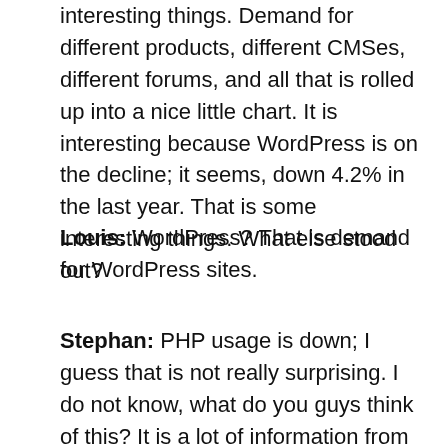interesting things. Demand for different products, different CMSes, different forums, and all that is rolled up into a nice little chart. It is interesting because WordPress is on the decline; it seems, down 4.2% in the last year. That is some interesting things. What else stood out?
Louis: WordPress? That is demand for WordPress sites.
Stephan: PHP usage is down; I guess that is not really surprising. I do not know, what do you guys think of this? It is a lot of information from last year.